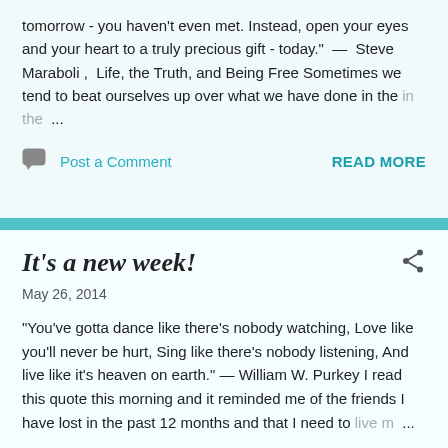tomorrow - you haven't even met. Instead, open your eyes and your heart to a truly precious gift - today." — Steve Maraboli , Life, the Truth, and Being Free Sometimes we tend to beat ourselves up over what we have done in the ...
Post a Comment
READ MORE
It's a new week!
May 26, 2014
“You’ve gotta dance like there's nobody watching, Love like you'll never be hurt, Sing like there's nobody listening, And live like it's heaven on earth.” — William W. Purkey I read this quote this morning and it reminded me of the friends I have lost in the past 12 months and that I need to live m...